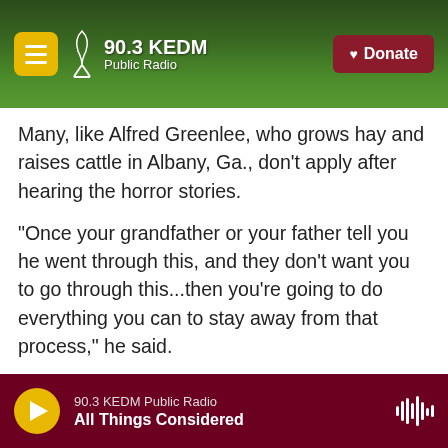90.3 KEDM Public Radio — Donate
Many, like Alfred Greenlee, who grows hay and raises cattle in Albany, Ga., don't apply after hearing the horror stories.
"Once your grandfather or your father tell you he went through this, and they don't want you to go through this...then you're going to do everything you can to stay away from that process," he said.
Carpenter, who spent years overseeing implementation of the two settlements, is optimistic about this latest promise of debt relief for farmers of color, "but there will be a limited
90.3 KEDM Public Radio — All Things Considered